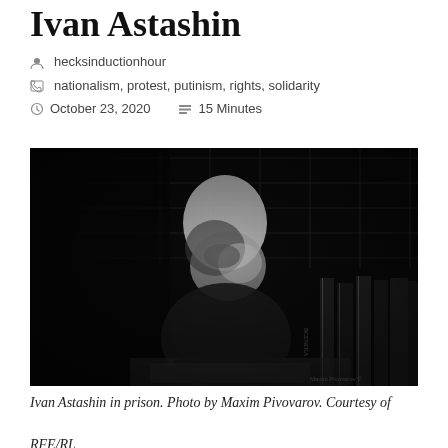Ivan Astashin
hecksinductionhour
nationalism, protest, putinism, rights, solidarity
October 23, 2020   15 Minutes
[Figure (photo): Black and white photograph of Ivan Astashin, a bald man, in prison, leaning over and writing or reading, with books visible to the right and a tiled wall in the background. Photo credit: Maxim Pivovarov, courtesy of RFE/RL.]
Ivan Astashin in prison. Photo by Maxim Pivovarov. Courtesy of RFE/RL